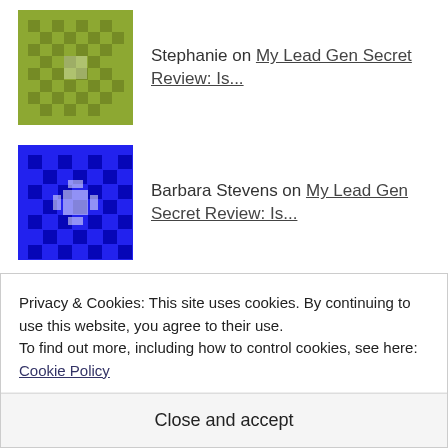Stephanie on My Lead Gen Secret Review: Is...
Barbara Stevens on My Lead Gen Secret Review: Is...
Stephanie on My Lead Gen Secret Review: Is...
Archives
May 2021
Privacy & Cookies: This site uses cookies. By continuing to use this website, you agree to their use.
To find out more, including how to control cookies, see here: Cookie Policy
Close and accept